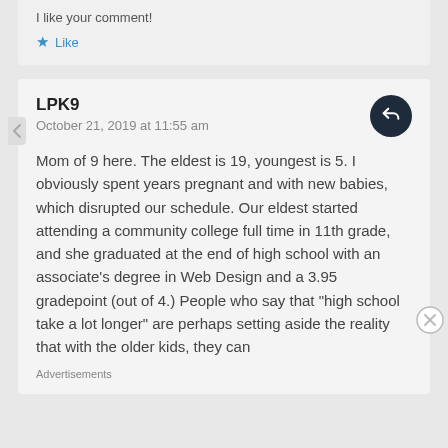I like your comment!
Like
LPK9
October 21, 2019 at 11:55 am
Mom of 9 here. The eldest is 19, youngest is 5. I obviously spent years pregnant and with new babies, which disrupted our schedule. Our eldest started attending a community college full time in 11th grade, and she graduated at the end of high school with an associate's degree in Web Design and a 3.95 gradepoint (out of 4.) People who say that "high school take a lot longer" are perhaps setting aside the reality that with the older kids, they can
Advertisements